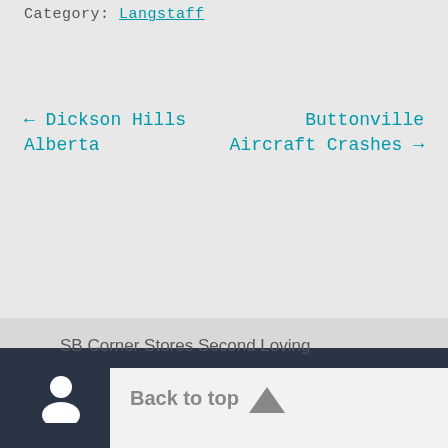Category: Langstaff
← Dickson Hills Alberta
Buttonville Aircraft Crashes →
SB Corner Stores Second Loving
Back to top ▲
Bottom navigation bar with user, search, and cart icons